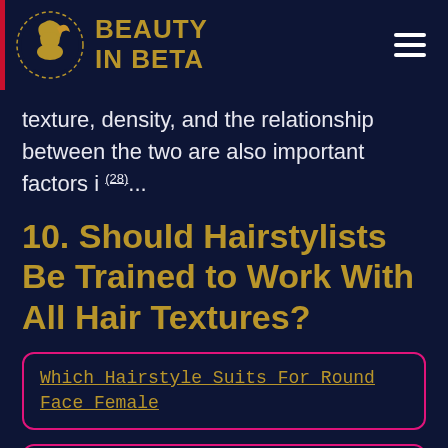BEAUTY IN BETA
texture, density, and the relationship between the two are also important factors i (28)…
10. Should Hairstylists Be Trained to Work With All Hair Textures?
Which Hairstyle Suits For Round Face Female
How To Get Bradley Cooper Hairstyle